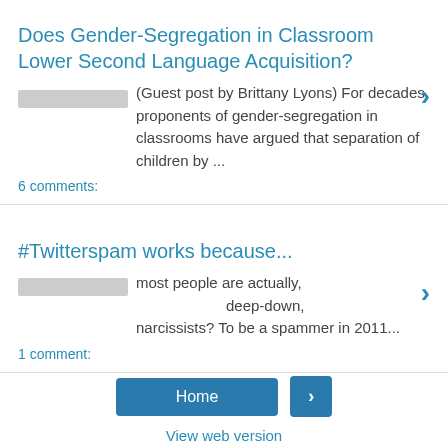Does Gender-Segregation in Classroom Lower Second Language Acquisition?
(Guest post by Brittany Lyons) For decades, proponents of gender-segregation in classrooms have argued that separation of children by ...
6 comments:
#Twitterspam works because...
most people are actually, deep-down, narcissists? To be a spammer in 2011...
1 comment:
Home
View web version
Powered by Blogger.